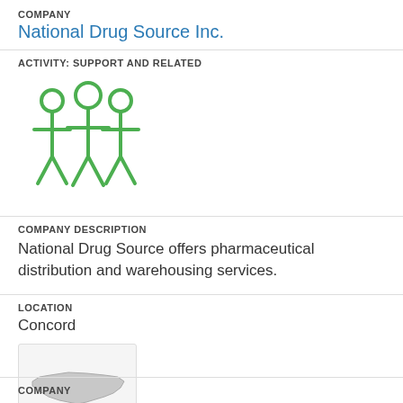COMPANY
National Drug Source Inc.
ACTIVITY: SUPPORT AND RELATED
[Figure (illustration): Green icon showing three human figures standing together representing a group/team]
COMPANY DESCRIPTION
National Drug Source offers pharmaceutical distribution and warehousing services.
LOCATION
Concord
[Figure (map): Small map thumbnail showing an outline of what appears to be a US state in gray on a light background]
COMPANY